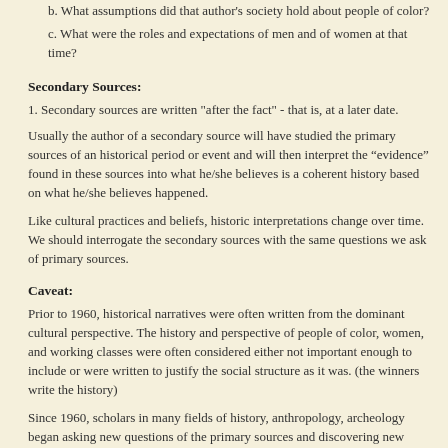b. What assumptions did that author's society hold about people of color?
c. What were the roles and expectations of men and of women at that time?
Secondary Sources:
1. Secondary sources are written "after the fact" - that is, at a later date.
Usually the author of a secondary source will have studied the primary sources of an historical period or event and will then interpret the “evidence” found in these sources into what he/she believes is a coherent history based on what he/she believes happened.
Like cultural practices and beliefs, historic interpretations change over time. We should interrogate the secondary sources with the same questions we ask of primary sources.
Caveat:
Prior to 1960, historical narratives were often written from the dominant cultural perspective. The history and perspective of people of color, women, and working classes were often considered either not important enough to include or were written to justify the social structure as it was. (the winners write the history)
Since 1960, scholars in many fields of history, anthropology, archeology began asking new questions of the primary sources and discovering new sources. This work uncovered new understandings about these groups, and the stories they told began to be more complex, from different points of view